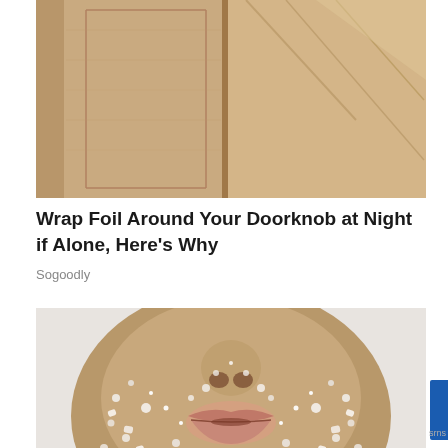[Figure (photo): Close-up photo of wooden door panels with golden/tan tones]
Wrap Foil Around Your Doorknob at Night if Alone, Here's Why
Sogoodly
[Figure (photo): Close-up photo of a person's face covered in sugar scrub or salt crystals, showing mouth and lower face area]